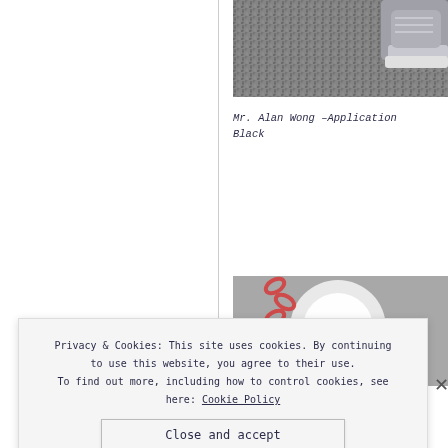[Figure (photo): A photograph showing a textured carpet/rug surface with a grey sneaker visible at the top right corner.]
Mr. Alan Wong –Application Black
[Figure (photo): A photograph showing a pink/red chain-like decorative object against a blurred grey background.]
Privacy & Cookies: This site uses cookies. By continuing to use this website, you agree to their use. To find out more, including how to control cookies, see here: Cookie Policy
Close and accept
WORDPRESS.COM